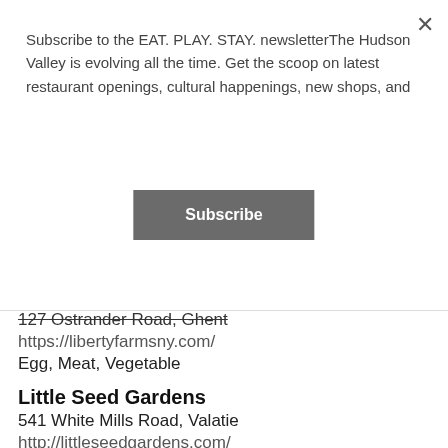Subscribe to the EAT. PLAY. STAY. newsletterThe Hudson Valley is evolving all the time. Get the scoop on latest restaurant openings, cultural happenings, new shops, and
Subscribe
127 Ostrander Road, Ghent
https://libertyfarmsny.com/
Egg, Meat, Vegetable
Little Seed Gardens
541 White Mills Road, Valatie
http://littleseedgardens.com/
Vegetable
Miracle Springs Farm
709 County Route 11, Ancram
https://www.miraclespringsfarm.com/#/
Dairy